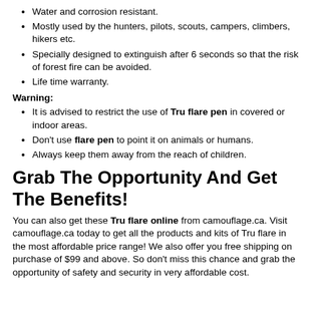Water and corrosion resistant.
Mostly used by the hunters, pilots, scouts, campers, climbers, hikers etc.
Specially designed to extinguish after 6 seconds so that the risk of forest fire can be avoided.
Life time warranty.
Warning:
It is advised to restrict the use of Tru flare pen in covered or indoor areas.
Don't use flare pen to point it on animals or humans.
Always keep them away from the reach of children.
Grab The Opportunity And Get The Benefits!
You can also get these Tru flare online from camouflage.ca. Visit camouflage.ca today to get all the products and kits of Tru flare in the most affordable price range! We also offer you free shipping on purchase of $99 and above. So don't miss this chance and grab the opportunity of safety and security in very affordable cost.